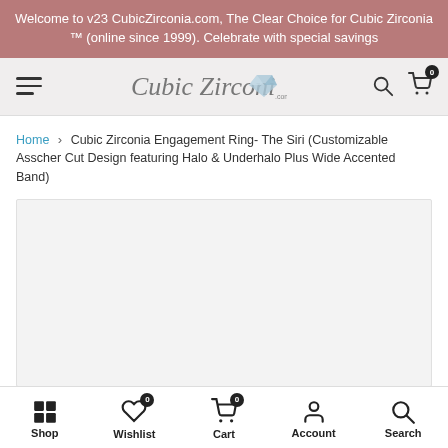Welcome to v23 CubicZirconia.com, The Clear Choice for Cubic Zirconia ™ (online since 1999). Celebrate with special savings
[Figure (logo): CubicZirconia.com logo in cursive script with gem icon]
Home > Cubic Zirconia Engagement Ring- The Siri (Customizable Asscher Cut Design featuring Halo & Underhalo Plus Wide Accented Band)
[Figure (photo): Product image area placeholder (light gray background)]
Shop | Wishlist (0) | Cart (0) | Account | Search